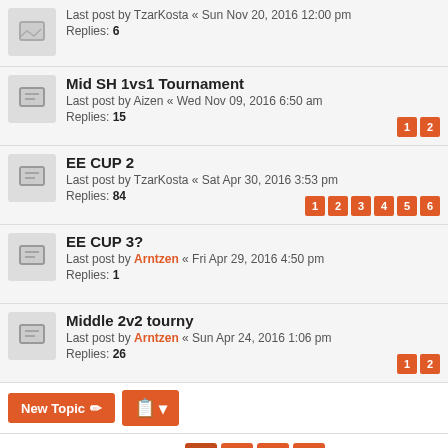Last post by TzarKosta « Sun Nov 20, 2016 12:00 pm
Replies: 6
Mid SH 1vs1 Tournament
Last post by Aizen « Wed Nov 09, 2016 6:50 am
Replies: 15
Pages: 1 2
EE CUP 2
Last post by TzarKosta « Sat Apr 30, 2016 3:53 pm
Replies: 84
Pages: 1 2 3 4 5 6
EE CUP 3?
Last post by Arntzen « Fri Apr 29, 2016 4:50 pm
Replies: 1
Middle 2v2 tourny
Last post by Arntzen « Sun Apr 24, 2016 1:06 pm
Replies: 26
Pages: 1 2
New Topic | Sort | 65 topics  1 2 3 ▶
Jump to
Who is online
Users browsing this forum: No registered users and 3 guests
Forum permissions